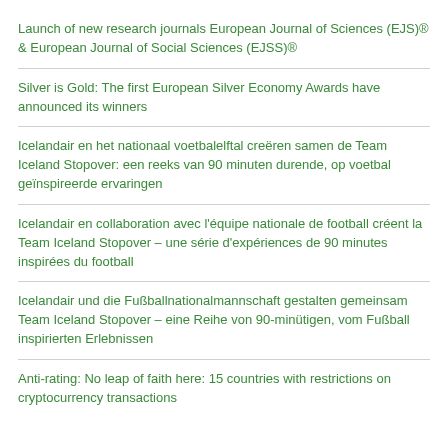Launch of new research journals European Journal of Sciences (EJS)® & European Journal of Social Sciences (EJSS)®
Silver is Gold: The first European Silver Economy Awards have announced its winners
Icelandair en het nationaal voetbalelftal creëren samen de Team Iceland Stopover: een reeks van 90 minuten durende, op voetbal geïnspireerde ervaringen
Icelandair en collaboration avec l'équipe nationale de football créent la Team Iceland Stopover – une série d'expériences de 90 minutes inspirées du football
Icelandair und die Fußballnationalmannschaft gestalten gemeinsam Team Iceland Stopover – eine Reihe von 90-minütigen, vom Fußball inspirierten Erlebnissen
Anti-rating: No leap of faith here: 15 countries with restrictions on cryptocurrency transactions